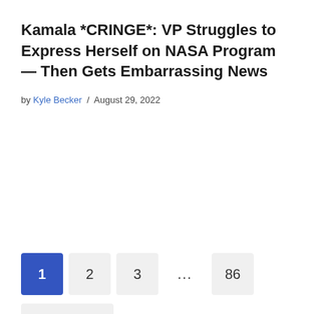Kamala *CRINGE*: VP Struggles to Express Herself on NASA Program — Then Gets Embarrassing News
by Kyle Becker / August 29, 2022
Pagination: 1 (current), 2, 3, ..., 86, Next »